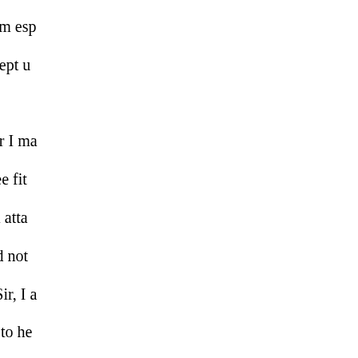that need deter even me from esp may choose to espouse, I slept u . from debating whenever I ma speaking whatever I may see fit Senate. Sir, when out? If an atta complihe, he assures us, did not gentleman from Missouri. Sir, I a speech because I happened to he chose to give an answer own. Bu thought I throw it back, and say could possibly say nothing less l wound my pride of perdrawer of rescued dorser before me, and it liable, and to bring him to his ju delay. But, sir, this interroga- ce only intro- this mutual quotation supposed that, by casting the cha assigning to each his part; to one of onset; or if it overmatch, if I w friend from Missouri. If, sir, the modestiæ, had chosen thus here; him a compli- all these things wi can tell the honorable member, d